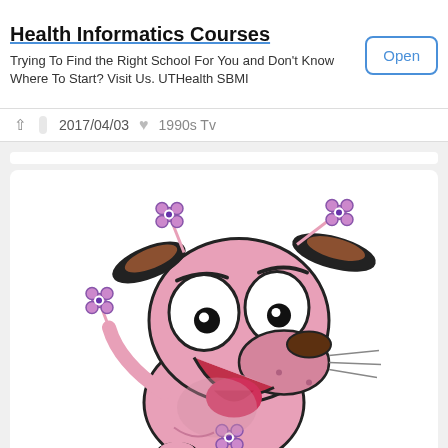Health Informatics Courses
Trying To Find the Right School For You and Don't Know Where To Start? Visit Us. UTHealth SBMI
2017/04/03   1990s Tv
[Figure (illustration): Cartoon illustration of Courage the Cowardly Dog character - a pink cartoon dog with large white eyes, black pupils, floppy brown-tipped black ears, open mouth showing tongue, and small flower-shaped spots on its body.]